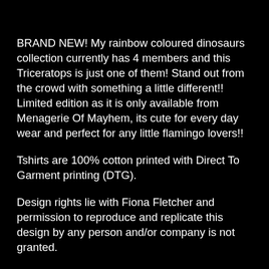BRAND NEW! My rainbow coloured dinosaurs collection currently has 4 members and this Triceratops is just one of them! Stand out from the crowd with something a little different!! Limited edition as it is only available from Menagerie Of Mayhem, its cute for every day wear and perfect for any little flamingo lovers!!
Tshirts are 100% cotton printed with Direct To Garment printing (DTG).
Design rights lie with Fiona Fletcher and permission to reproduce and replicate this design by any person and/or company is not granted.
**Sizes**